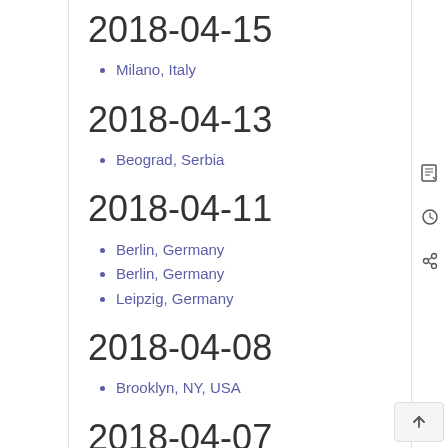2018-04-15
Milano, Italy
2018-04-13
Beograd, Serbia
2018-04-11
Berlin, Germany
Berlin, Germany
Leipzig, Germany
2018-04-08
Brooklyn, NY, USA
2018-04-07
Trier, Germany
Tübingen, Germany